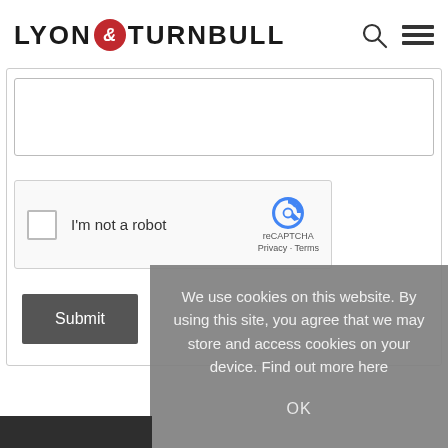LYON & TURNBULL
[Figure (screenshot): Textarea input box (form element), partially visible]
[Figure (screenshot): reCAPTCHA widget with checkbox labeled 'I'm not a robot' and reCAPTCHA logo with Privacy · Terms links]
[Figure (screenshot): Submit button, dark grey, with label 'Submit']
We use cookies on this website. By using this site, you agree that we may store and access cookies on your device. Find out more here
OK